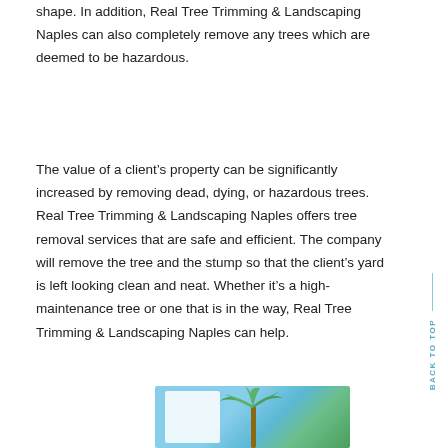shape. In addition, Real Tree Trimming & Landscaping Naples can also completely remove any trees which are deemed to be hazardous.
The value of a client's property can be significantly increased by removing dead, dying, or hazardous trees. Real Tree Trimming & Landscaping Naples offers tree removal services that are safe and efficient. The company will remove the tree and the stump so that the client's yard is left looking clean and neat. Whether it's a high-maintenance tree or one that is in the way, Real Tree Trimming & Landscaping Naples can help.
[Figure (photo): Partial view of a photo showing a building and palm tree against a blue sky]